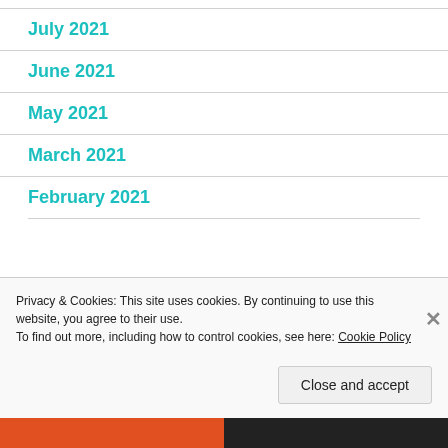July 2021
June 2021
May 2021
March 2021
February 2021
Privacy & Cookies: This site uses cookies. By continuing to use this website, you agree to their use.
To find out more, including how to control cookies, see here: Cookie Policy
Close and accept